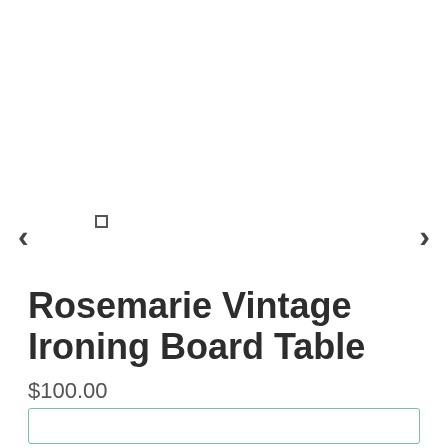[Figure (other): Product image area with left and right navigation arrows and a square dot indicator for image carousel]
Rosemarie Vintage Ironing Board Table
$100.00